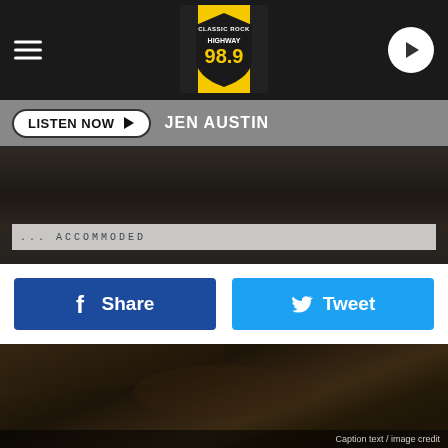Classic Rock Highway 98.9
LISTEN NOW ▶  JEN AUSTIN
[Figure (photo): Dark outdoor scene with a banner/sign partially visible reading text, taken at night or dusk]
Share
Tweet
[Figure (photo): Dark outdoor ground-level photo of grass and leaves, low light conditions]
Caption text partially visible at bottom